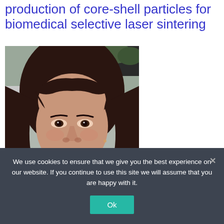production of core-shell particles for biomedical selective laser sintering
[Figure (photo): Portrait photograph of a young woman with dark brown hair and bangs, looking directly at the camera, outdoors with a blurred background.]
We use cookies to ensure that we give you the best experience on our website. If you continue to use this site we will assume that you are happy with it.